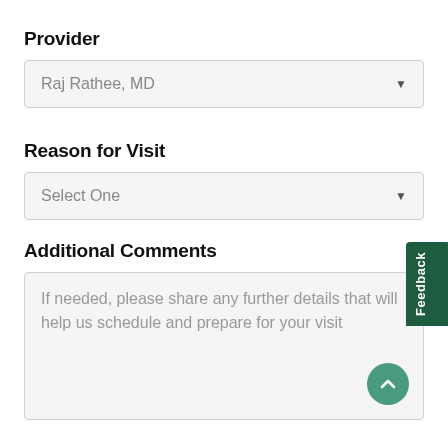Provider
Raj Rathee, MD
Reason for Visit
Select One
Additional Comments
If needed, please share any further details that will help us schedule and prepare for your visit